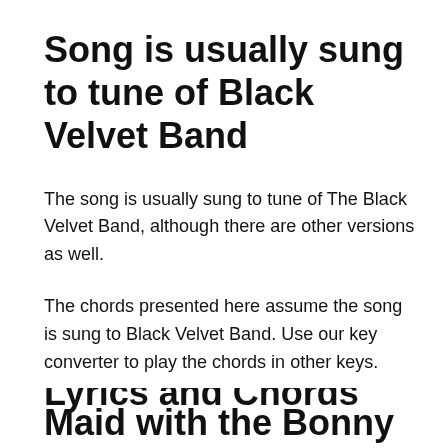Song is usually sung to tune of Black Velvet Band
The song is usually sung to tune of The Black Velvet Band, although there are other versions as well.
The chords presented here assume the song is sung to Black Velvet Band. Use our key converter to play the chords in other keys.
Maid with the Bonny Brown Hair
Lyrics and Chords